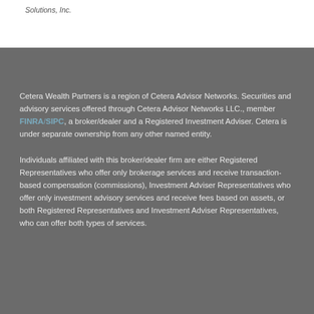Solutions, Inc.
Cetera Wealth Partners is a region of Cetera Advisor Networks. Securities and advisory services offered through Cetera Advisor Networks LLC., member FINRA/SIPC, a broker/dealer and a Registered Investment Adviser. Cetera is under separate ownership from any other named entity.
Individuals affiliated with this broker/dealer firm are either Registered Representatives who offer only brokerage services and receive transaction-based compensation (commissions), Investment Adviser Representatives who offer only investment advisory services and receive fees based on assets, or both Registered Representatives and Investment Adviser Representatives, who can offer both types of services.